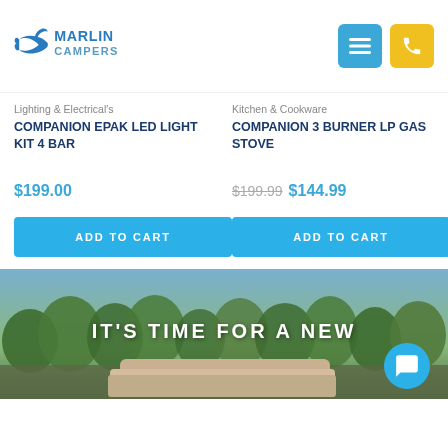[Figure (logo): Marlin Campers logo with marlin fish graphic and text MARLIN CAMPERS in blue]
Lighting & Electrical's
COMPANION EPAK LED LIGHT KIT 4 BAR
$199.00
ADD TO CART
Kitchen & Cookware
COMPANION 3 BURNER LP GAS STOVE
$199.99 $144.99
ADD TO CART
[Figure (photo): Outdoor scene with trees and a camper trailer, text overlay reading IT'S TIME FOR A NEW]